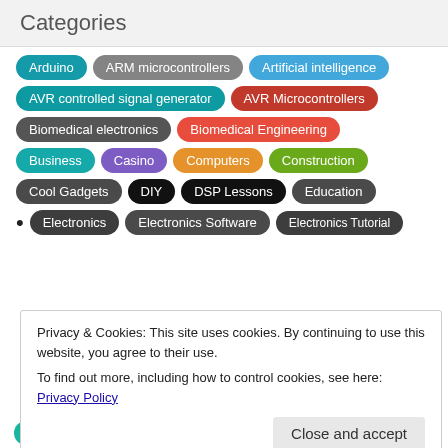Categories
Arduino
ARM microcontrollers
Artificial intelligence
AVR controlled signal generator
AVR Microcontrollers
Biomedical electronics
Biomedical Engineering
Business
Casino
Computers
Construction
Cool Gadgets
DIY
DSP Lessons
Education
Electronics
Electronics Software
Electronics Tutorial
Privacy & Cookies: This site uses cookies. By continuing to use this website, you agree to their use.
To find out more, including how to control cookies, see here: Privacy Policy
Industrial
Internet
IoT
Machine Learning